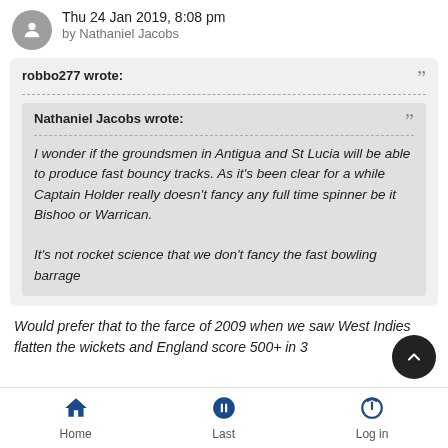Thu 24 Jan 2019, 8:08 pm
by Nathaniel Jacobs
robbo277 wrote:
Nathaniel Jacobs wrote:
I wonder if the groundsmen in Antigua and St Lucia will be able to produce fast bouncy tracks. As it's been clear for a while Captain Holder really doesn't fancy any full time spinner be it Bishoo or Warrican.

It's not rocket science that we don't fancy the fast bowling barrage
Would prefer that to the farce of 2009 when we saw West Indies flatten the wickets and England score 500+ in 3